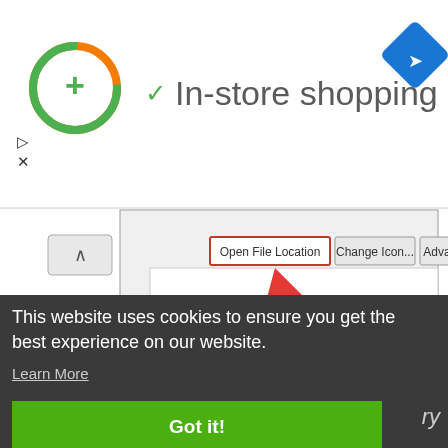[Figure (screenshot): Browser/website header area showing a green circular plus icon, a checkmark followed by 'In-store shopping' text, a blue diamond navigation icon, and small play/close icons. Below is a Windows dialog screenshot showing 'Open File Location', 'Change Icon...', 'Advanced...' buttons and a red arrow pointing to 'Open File Location' button with a red circle numbered '1'. At the bottom are OK, Cancel, Apply buttons.]
This website uses cookies to ensure you get the best experience on our website.
Learn More
Got it!